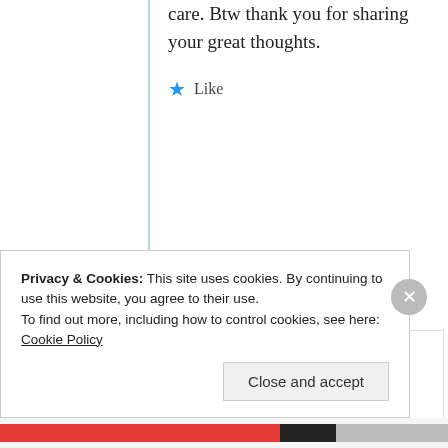care. Btw thank you for sharing your great thoughts.
★ Like
mildredprince welch
25th Jun 2021 at 8:22 pm
Privacy & Cookies: This site uses cookies. By continuing to use this website, you agree to their use. To find out more, including how to control cookies, see here: Cookie Policy
Close and accept